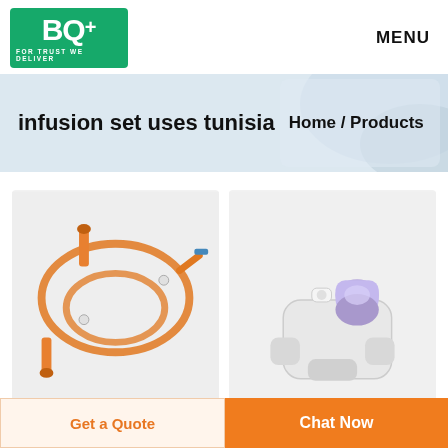BQ+ FOR TRUST WE DELIVER | MENU
infusion set uses tunisia
Home / Products
[Figure (photo): An orange infusion set with tubing coiled on a white background]
[Figure (photo): A purple/blue filter connector medical device on a white background]
Get a Quote
Chat Now